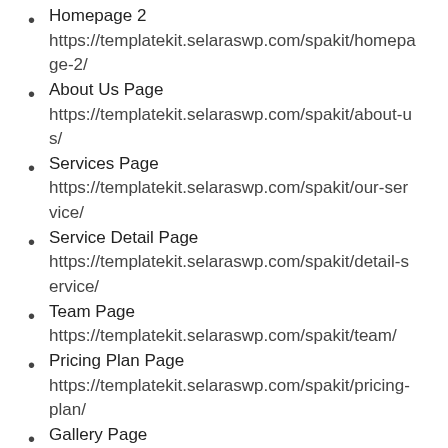Homepage 2 https://templatekit.selaraswp.com/spakit/homepage-2/
About Us Page https://templatekit.selaraswp.com/spakit/about-us/
Services Page https://templatekit.selaraswp.com/spakit/our-service/
Service Detail Page https://templatekit.selaraswp.com/spakit/detail-service/
Team Page https://templatekit.selaraswp.com/spakit/team/
Pricing Plan Page https://templatekit.selaraswp.com/spakit/pricing-plan/
Gallery Page